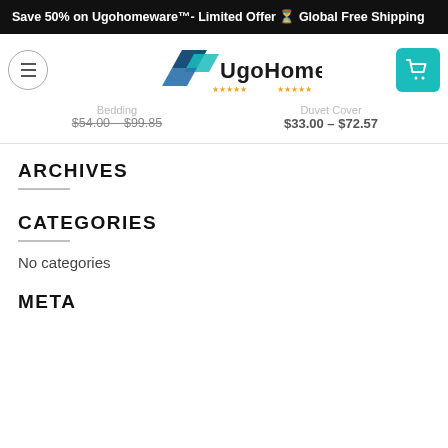Save 50% on Ugohomeware™- Limited Offer ⏳ Global Free Shipping
[Figure (logo): UgoHomeware logo with teal and dark blue geometric shapes and bold text]
Bedding
Duvet Cover
$54.00 – $99.85
$33.00 – $72.57
ARCHIVES
CATEGORIES
No categories
META